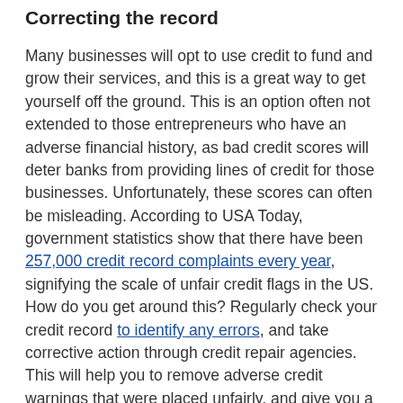Correcting the record
Many businesses will opt to use credit to fund and grow their services, and this is a great way to get yourself off the ground. This is an option often not extended to those entrepreneurs who have an adverse financial history, as bad credit scores will deter banks from providing lines of credit for those businesses. Unfortunately, these scores can often be misleading. According to USA Today, government statistics show that there have been 257,000 credit record complaints every year, signifying the scale of unfair credit flags in the US. How do you get around this? Regularly check your credit record to identify any errors, and take corrective action through credit repair agencies. This will help you to remove adverse credit warnings that were placed unfairly, and give you a better chance at securing funding.
Attracting investors